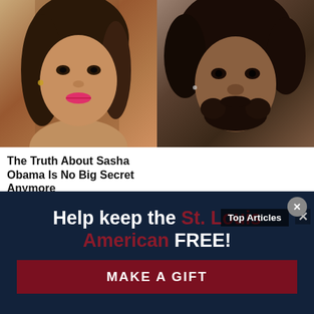[Figure (photo): Two photos side by side at top: left shows a young woman with long brown hair wearing pink lipstick; right shows a man with short beard and afro looking directly at camera]
The Truth About Sasha Obama Is No Big Secret Anymore
[Figure (photo): Popup overlay with 'Top Articles' label and an X close button, showing a row of three photos: left is a blonde woman cropped, middle shows a young man in black shirt outdoors with cars in background, right shows two women with natural hair styles outdoors]
Top Articles
Help keep the St. Louis American FREE!
MAKE A GIFT